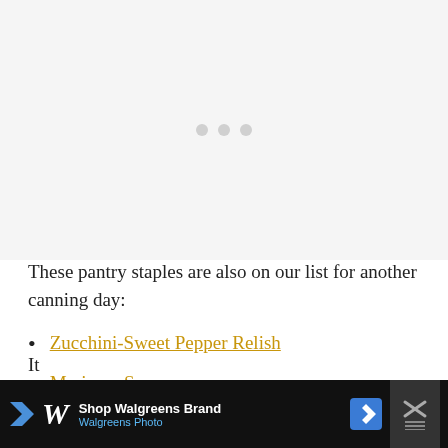[Figure (other): Advertisement placeholder with three gray dots indicating a loading or ad slot area]
These pantry staples are also on our list for another canning day:
Zucchini-Sweet Pepper Relish
Marinara Sauce
Small Batch Peach Barbecue Sauce
[Figure (other): Walgreens Brand advertisement banner at bottom of page with Walgreens Photo logo, navigation icon, and close button]
It